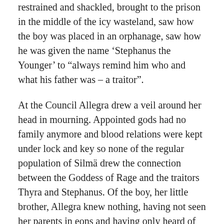restrained and shackled, brought to the prison in the middle of the icy wasteland, saw how the boy was placed in an orphanage, saw how he was given the name ‘Stephanus the Younger’ to “always remind him who and what his father was – a traitor”.
At the Council Allegra drew a veil around her head in mourning. Appointed gods had no family anymore and blood relations were kept under lock and key so none of the regular population of Silmä drew the connection between the Goddess of Rage and the traitors Thyra and Stephanus. Of the boy, her little brother, Allegra knew nothing, having not seen her parents in eons and having only heard of their death and imprisonment respectively by word of mouth and the soft voice of Kemal, who had reminded her of her loyalty to the Council.
The...